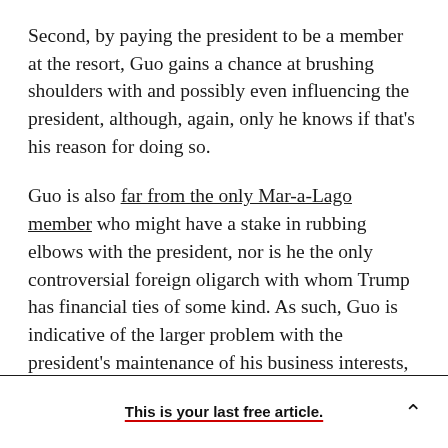Second, by paying the president to be a member at the resort, Guo gains a chance at brushing shoulders with and possibly even influencing the president, although, again, only he knows if that's his reason for doing so.
Guo is also far from the only Mar-a-Lago member who might have a stake in rubbing elbows with the president, nor is he the only controversial foreign oligarch with whom Trump has financial ties of some kind. As such, Guo is indicative of the larger problem with the president's maintenance of his business interests, both in general and with regard
This is your last free article.